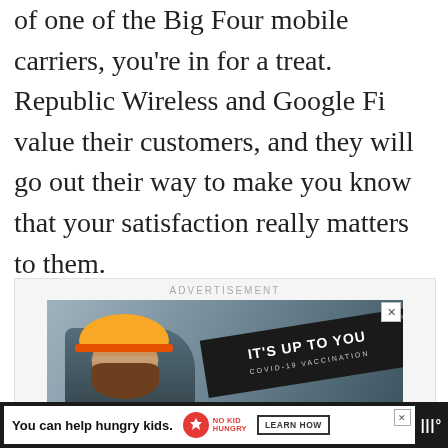of one of the Big Four mobile carriers, you're in for a treat. Republic Wireless and Google Fi value their customers, and they will go out their way to make you know that your satisfaction really matters to them.
[Figure (screenshot): Advertisement area with a construction worker wearing a yellow hard hat, a dark banner reading 'IT'S UP TO YOU - COVID-19 VACCINATION', and a yellow bar below with text 'Why should I get'. Below is a secondary ad bar with 'You can help hungry kids.' No Kid Hungry branding and a 'LEARN HOW' button on a dark background.]